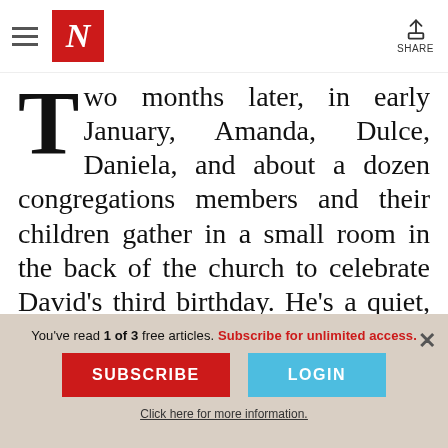The New Yorker — SHARE
Two months later, in early January, Amanda, Dulce, Daniela, and about a dozen congregations members and their children gather in a small room in the back of the church to celebrate David's third birthday. He's a quiet, stout child whose often serious expression makes him look like a small version of a grown man. Amanda learned she
You've read 1 of 3 free articles. Subscribe for unlimited access.
SUBSCRIBE
LOGIN
Click here for more information.